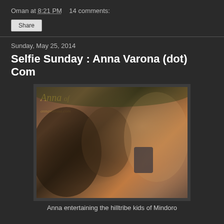Oman at 8:21 PM    14 comments:
Share
Sunday, May 25, 2014
Selfie Sunday : Anna Varona (dot) Com
[Figure (photo): A woman showing her phone to a group of hilltribe children outdoors. Watermark reads 'Anna of annavarona.com' in gold italic text.]
Anna entertaining the hilltribe kids of Mindoro